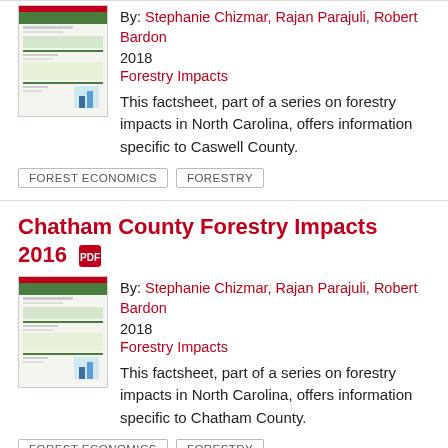[Figure (illustration): Thumbnail image of a forestry impacts factsheet document for Caswell County]
By: Stephanie Chizmar, Rajan Parajuli, Robert Bardon
2018
Forestry Impacts
This factsheet, part of a series on forestry impacts in North Carolina, offers information specific to Caswell County.
FOREST ECONOMICS
FORESTRY
Chatham County Forestry Impacts 2016
[Figure (illustration): Thumbnail image of a forestry impacts factsheet document for Chatham County]
By: Stephanie Chizmar, Rajan Parajuli, Robert Bardon
2018
Forestry Impacts
This factsheet, part of a series on forestry impacts in North Carolina, offers information specific to Chatham County.
FOREST ECONOMICS
FORESTRY